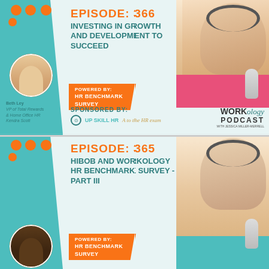[Figure (infographic): Workology Podcast Episode 366 card: 'Investing in Growth and Development to Succeed', featuring Beth Ley VP of Total Rewards & Home Office HR at Kendra Scott. Powered by HR Benchmark Survey. Sponsored by Up Skill HR and Ace the HR Exam. Workology Podcast logo. Host photo on right.]
[Figure (infographic): Workology Podcast Episode 365 card: 'HiBob and Workology HR Benchmark Survey - Part III'. Powered by HR Benchmark Survey. Host photo on right. Guest photo on left.]